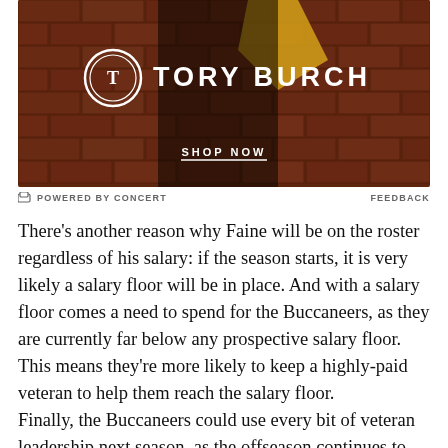[Figure (photo): Tory Burch advertisement banner showing a model in dark clothing against a brick wall background, with the Tory Burch logo (circular emblem and brand name) displayed prominently and a 'SHOP NOW' call-to-action link at the bottom.]
POWERED BY CONCERT   FEEDBACK
There's another reason why Faine will be on the roster regardless of his salary: if the season starts, it is very likely a salary floor will be in place. And with a salary floor comes a need to spend for the Buccaneers, as they are currently far below any prospective salary floor. This means they're more likely to keep a highly-paid veteran to help them reach the salary floor.
Finally, the Buccaneers could use every bit of veteran leadership next season, as the offseason continues to